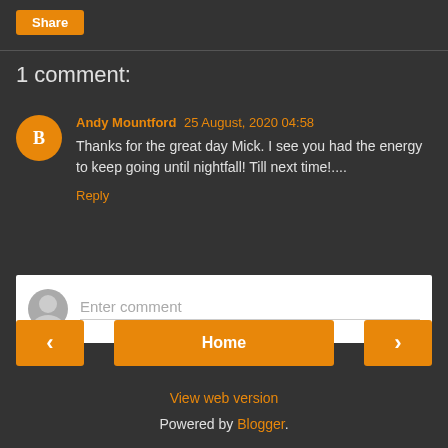Share
1 comment:
Andy Mountford 25 August, 2020 04:58
Thanks for the great day Mick. I see you had the energy to keep going until nightfall! Till next time!....
Reply
Enter comment
Home
View web version
Powered by Blogger.